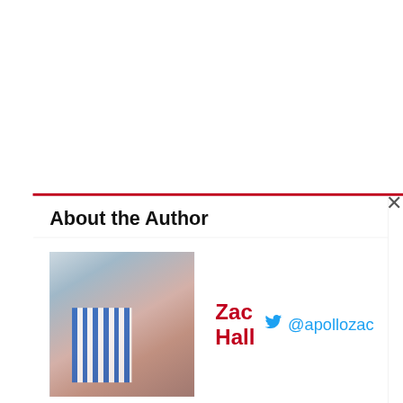About the Author
Zac Hall  @apollozac
[Figure (photo): Author photo of Zac Hall with family at a beach setting]
[Figure (photo): NASA Artemis I rocket on launch pad at dusk/dawn]
NASA planning Artemis I launch on August 29
[Figure (photo): Artemis I on launch pad, dark sky]
Artemis I arrives a of its planned laur